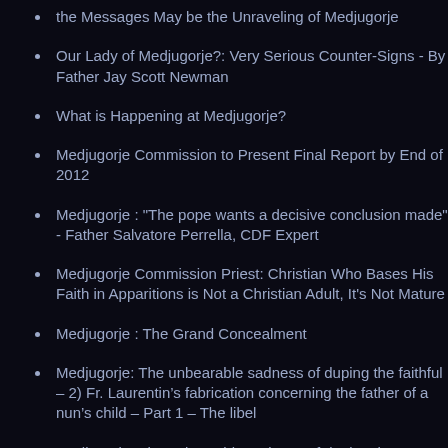the Messages May be the Unraveling of Medjugorje
Our Lady of Medjugorje?: Very Serious Counter-Signs - By Father Jay Scott Newman
What is Happening at Medjugorje?
Medjugorje Commission to Present Final Report by End of 2012
Medjugorje : "The pope wants a decisive conclusion made" - Father Salvatore Perrella, CDF Expert
Medjugorje Commission Priest: Christian Who Bases His Faith in Apparitions is Not a Christian Adult, It's Not Mature
Medjugorje : The Grand Concealment
Medjugorje: The unbearable sadness of duping the faithful – 2) Fr. Laurentin’s fabrication concerning the father of a nun’s child – Part 1 – The libel
Medjugorje: The unbearable sadness of duping the